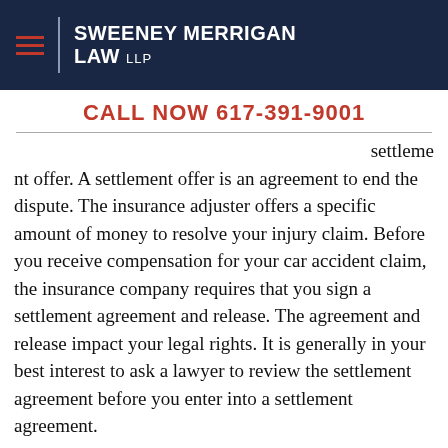Sweeney Merrigan Law LLP
CALL NOW 617-391-9001
settlement offer. A settlement offer is an agreement to end the dispute. The insurance adjuster offers a specific amount of money to resolve your injury claim. Before you receive compensation for your car accident claim, the insurance company requires that you sign a settlement agreement and release. The agreement and release impact your legal rights. It is generally in your best interest to ask a lawyer to review the settlement agreement before you enter into a settlement agreement.